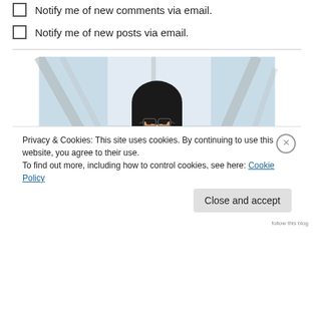Notify me of new comments via email.
Notify me of new posts via email.
[Figure (photo): A woman with long black hair and glasses sitting in a chair, photographed indoors with a bright background showing structural beams and outdoor greenery.]
Privacy & Cookies: This site uses cookies. By continuing to use this website, you agree to their use.
To find out more, including how to control cookies, see here: Cookie Policy
Close and accept